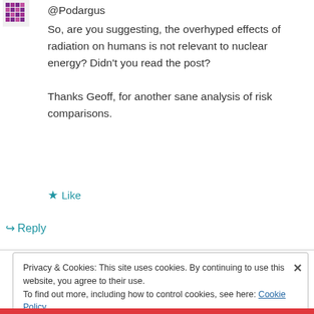[Figure (illustration): Purple/maroon decorative avatar icon (mosaic/pattern style) in top left corner]
@Podargus
So, are you suggesting, the overhyped effects of radiation on humans is not relevant to nuclear energy? Didn't you read the post?
Thanks Geoff, for another sane analysis of risk comparisons.
★ Like
↪ Reply
Privacy & Cookies: This site uses cookies. By continuing to use this website, you agree to their use.
To find out more, including how to control cookies, see here: Cookie Policy
Close and accept